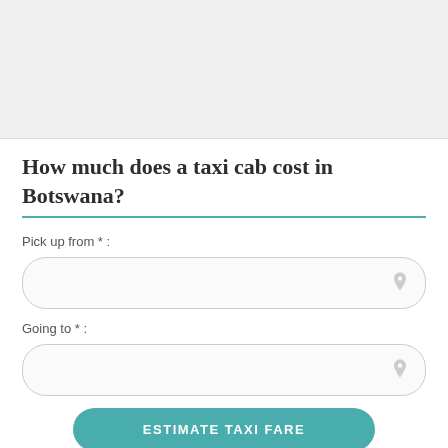How much does a taxi cab cost in Botswana?
Pick up from * :
[Figure (other): Text input field with location pin icon for pick up address]
Going to * :
[Figure (other): Text input field with location pin icon for destination address]
ESTIMATE TAXI FARE
More informations